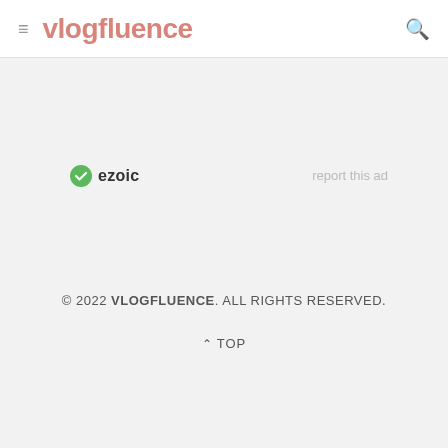vlogfluence
[Figure (logo): Ezoic logo badge with green circle checkmark icon and bold 'ezoic' text]
report this ad
© 2022 VLOGFLUENCE. ALL RIGHTS RESERVED.
^ TOP